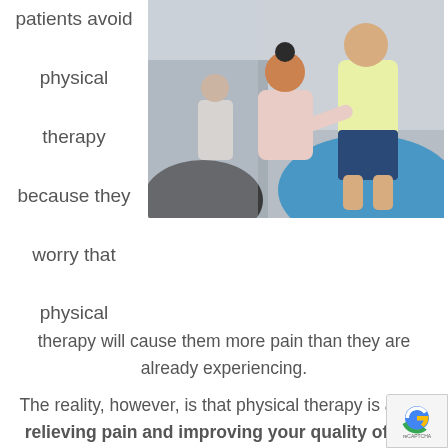patients avoid physical therapy because they worry that physical
[Figure (photo): Physical therapist helping a patient on an exercise ball in a gym setting]
therapy will cause them more pain than they are already experiencing.
The reality, however, is that physical therapy is about relieving pain and improving your quality of life, not increasing the pain you already have.
Here at In Touch NYC, our physical therapists are equipped to help you manage your pain. They can tailor